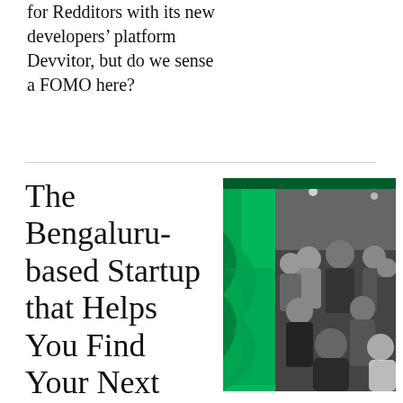for Redditors with its new developers' platform Devvitor, but do we sense a FOMO here?
The Bengaluru-based Startup that Helps You Find Your Next
[Figure (photo): Group photo of a startup team against a green background, rendered in black and white]